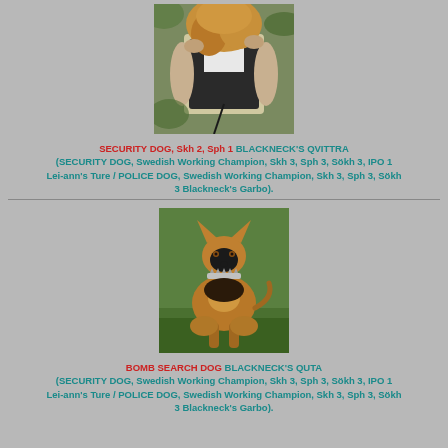[Figure (photo): Photo of a person holding/hugging a dog, outdoor background]
SECURITY DOG, Skh 2, Sph 1 BLACKNECK'S QVITTRA (SECURITY DOG, Swedish Working Champion, Skh 3, Sph 3, Sökh 3, IPO 1 Lei-ann's Ture / POLICE DOG, Swedish Working Champion, Skh 3, Sph 3, Sökh 3 Blackneck's Garbo).
[Figure (photo): Photo of a Belgian Malinois dog sitting on grass, wearing a spiked collar]
BOMB SEARCH DOG BLACKNECK'S QUTA (SECURITY DOG, Swedish Working Champion, Skh 3, Sph 3, Sökh 3, IPO 1 Lei-ann's Ture / POLICE DOG, Swedish Working Champion, Skh 3, Sph 3, Sökh 3 Blackneck's Garbo).